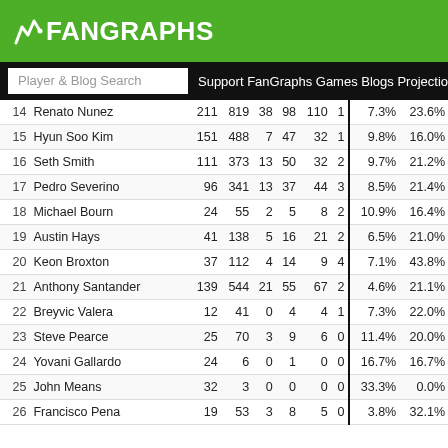FanGraphs
| # | Name | G | PA | HR | R | RBI | SB | BB% | K% |
| --- | --- | --- | --- | --- | --- | --- | --- | --- | --- |
| 14 | Renato Nunez | 211 | 819 | 38 | 98 | 110 | 1 | 7.3% | 23.6% |
| 15 | Hyun Soo Kim | 151 | 488 | 7 | 47 | 32 | 1 | 9.8% | 16.0% |
| 16 | Seth Smith | 111 | 373 | 13 | 50 | 32 | 2 | 9.7% | 21.2% |
| 17 | Pedro Severino | 96 | 341 | 13 | 37 | 44 | 3 | 8.5% | 21.4% |
| 18 | Michael Bourn | 24 | 55 | 2 | 5 | 8 | 2 | 10.9% | 16.4% |
| 19 | Austin Hays | 41 | 138 | 5 | 16 | 21 | 2 | 6.5% | 21.0% |
| 20 | Keon Broxton | 37 | 112 | 4 | 14 | 9 | 4 | 7.1% | 43.8% |
| 21 | Anthony Santander | 139 | 544 | 21 | 55 | 67 | 2 | 4.6% | 21.1% |
| 22 | Breyvic Valera | 12 | 41 | 0 | 4 | 4 | 1 | 7.3% | 22.0% |
| 23 | Steve Pearce | 25 | 70 | 3 | 9 | 6 | 0 | 11.4% | 20.0% |
| 24 | Yovani Gallardo | 24 | 6 | 0 | 1 | 0 | 0 | 16.7% | 16.7% |
| 25 | John Means | 32 | 3 | 0 | 0 | 0 | 0 | 33.3% | 0.0% |
| 26 | Francisco Pena | 19 | 53 | 3 | 8 | 5 | 0 | 3.8% | 32.1% |